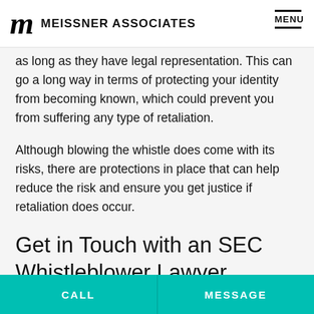MEISSNER ASSOCIATES  MENU
as long as they have legal representation. This can go a long way in terms of protecting your identity from becoming known, which could prevent you from suffering any type of retaliation.
Although blowing the whistle does come with its risks, there are protections in place that can help reduce the risk and ensure you get justice if retaliation does occur.
Get in Touch with an SEC Whistleblower Lawyer
Without courageous whistleblowers like you,
CALL  MESSAGE